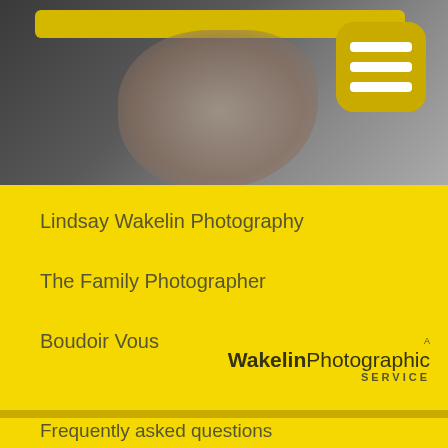[Figure (photo): Top portion showing a hand/person photo with dark gray background, a yellow horizontal bar at top left, and a yellow rounded square menu icon (hamburger menu with 3 white lines) at top right]
Lindsay Wakelin Photography
The Family Photographer
Boudoir Vous
[Figure (logo): A Wakelin Photographic SERVICE logo — 'A' small above, 'Wakelin' bold dark, 'Photographic' regular weight, 'SERVICE' spaced caps below]
Frequently asked questions